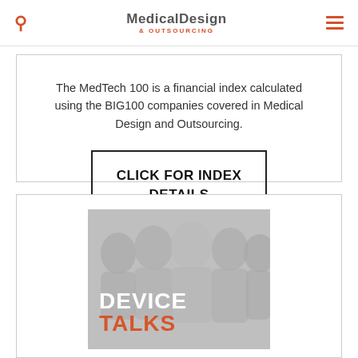Medical Design & Outsourcing
The MedTech 100 is a financial index calculated using the BIG100 companies covered in Medical Design and Outsourcing.
CLICK FOR INDEX DETAILS >>
[Figure (photo): Device Talks promotional image showing group of people with text DEVICE TALKS overlaid]